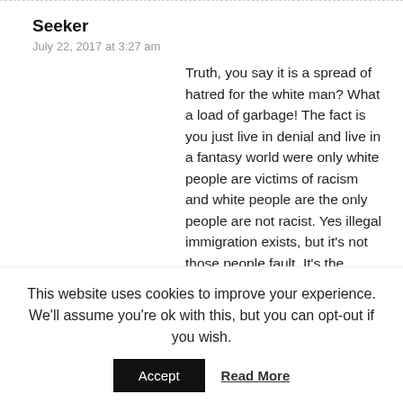Seeker
July 22, 2017 at 3:27 am
Truth, you say it is a spread of hatred for the white man? What a load of garbage! The fact is you just live in denial and live in a fantasy world were only white people are victims of racism and white people are the only people are not racist. Yes illegal immigration exists, but it's not those people fault. It's the government of Mexico fault because they refuse to help those people or helps it's country. YOU go down there and if you try to make a difference and tell me you wouldn't get killed. Also if you know your employer is hiring illegals, but you don't say anything, guess what?! You are part of the problem. See the problem with you white people is that you don't want to hear it
This website uses cookies to improve your experience. We'll assume you're ok with this, but you can opt-out if you wish.
Accept
Read More